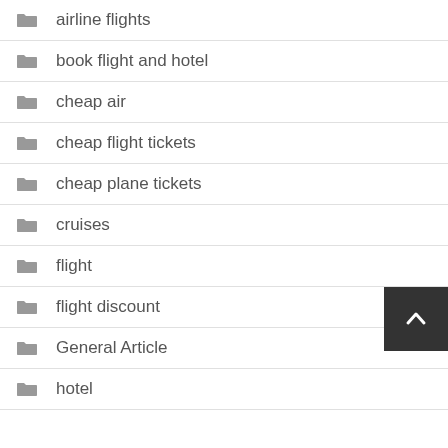airline flights
book flight and hotel
cheap air
cheap flight tickets
cheap plane tickets
cruises
flight
flight discount
General Article
hotel